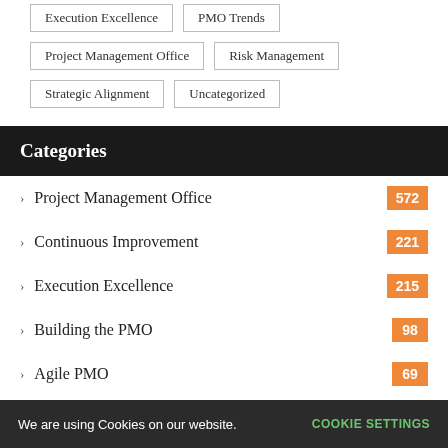Execution Excellence
PMO Trends
Project Management Office
Risk Management
Strategic Alignment
Uncategorized
Categories
Project Management Office 572
Continuous Improvement 221
Execution Excellence 215
Building the PMO 98
Agile PMO 69
PMO Trends
We are using Cookies on our website. COOKIE SETTINGS